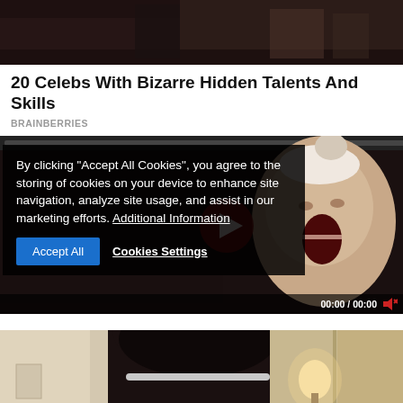[Figure (photo): Top photo showing a dark indoor scene with people, partially visible]
20 Celebs With Bizarre Hidden Talents And Skills
BRAINBERRIES
[Figure (screenshot): Video player with cookie consent overlay. Cookie text reads: By clicking "Accept All Cookies", you agree to the storing of cookies on your device to enhance site navigation, analyze site usage, and assist in our marketing efforts. Additional Information. Buttons: Accept All, Cookies Settings. Video shows baby/child. Time display: 00:00 / 00:00]
[Figure (photo): Bottom photo showing a person with dark hair from behind in an indoor setting with warm lighting]